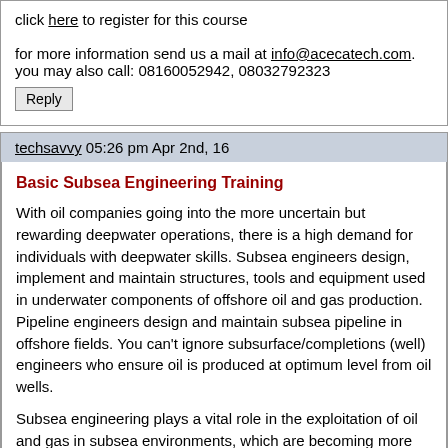click here to register for this course
for more information send us a mail at info@acecatech.com. you may also call: 08160052942, 08032792323
Reply
techsavvy 05:26 pm Apr 2nd, 16
Basic Subsea Engineering Training
With oil companies going into the more uncertain but rewarding deepwater operations, there is a high demand for individuals with deepwater skills. Subsea engineers design, implement and maintain structures, tools and equipment used in underwater components of offshore oil and gas production. Pipeline engineers design and maintain subsea pipeline in offshore fields. You can't ignore subsurface/completions (well) engineers who ensure oil is produced at optimum level from oil wells.
Subsea engineering plays a vital role in the exploitation of oil and gas in subsea environments, which are becoming more and more challenging and inaccessible. As more technology is deployed on the seabed, the oil and gas industry needs people with knowledge of subsea engineering to be involved with existing and new offshore projects.
Rocktop Safety services Nigeria Limited in conjunction with advanced Center for Engineering Career and Technology (ACECATECH) as part of their Easter training promo are offering an incredible discount of 60% on Subsea Engineering in addition to a free HSE training and